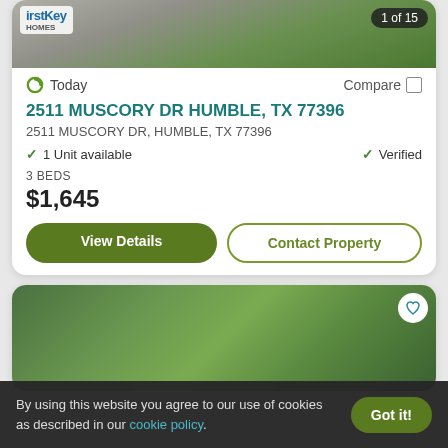[Figure (photo): Property exterior photo with FirstKey Homes logo overlay and '1 of 15' badge]
Today
Compare
2511 MUSCORY DR HUMBLE, TX 77396
2511 MUSCORY DR, HUMBLE, TX 77396
1 Unit available
Verified
3 BEDS
$1,645
View Details
Contact Property
[Figure (photo): Second property listing photo showing lush green trees]
By using this website you agree to our use of cookies as described in our cookie policy.
Got it!